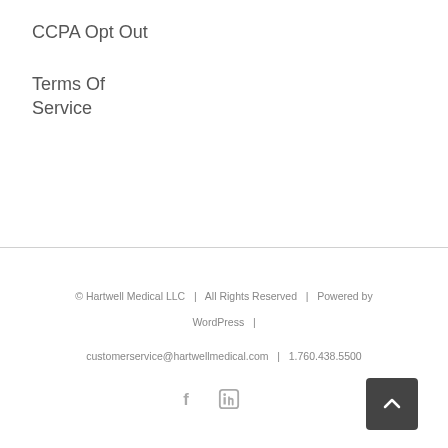CCPA Opt Out
Terms Of Service
© Hartwell Medical LLC   |   All Rights Reserved   |   Powered by WordPress   |
customerservice@hartwellmedical.com   |   1.760.438.5500